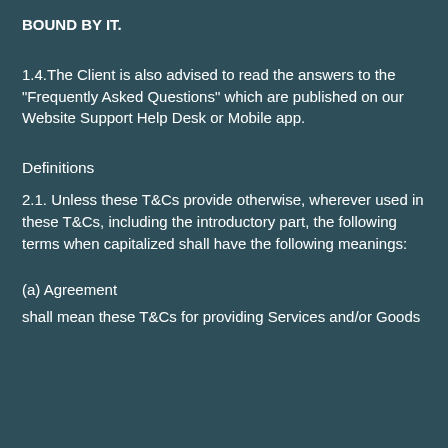BOUND BY IT.
1.4.The Client is also advised to read the answers to the "Frequently Asked Questions" which are published on our Website Support Help Desk or Mobile app.
Definitions
2.1. Unless these T&Cs provide otherwise, wherever used in these T&Cs, including the introductory part, the following terms when capitalized shall have the following meanings:
(a) Agreement
shall mean these T&Cs for providing Services and/or Goods